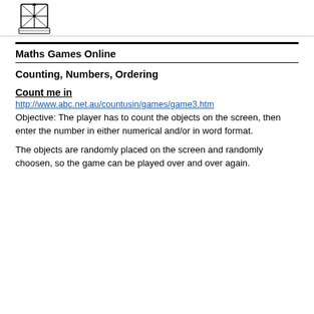[Figure (logo): School crest/coat of arms logo in black and white]
Maths Games Online
Counting, Numbers, Ordering
Count me in
http://www.abc.net.au/countusin/games/game3.htm
Objective: The player has to count the objects on the screen, then enter the number in either numerical and/or in word format.
The objects are randomly placed on the screen and randomly choosen, so the game can be played over and over again.